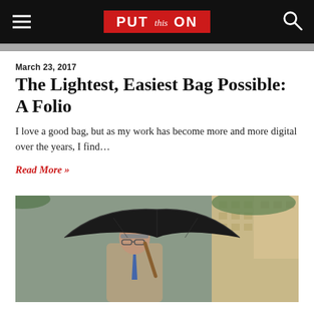PUT this ON
March 23, 2017
The Lightest, Easiest Bag Possible: A Folio
I love a good bag, but as my work has become more and more digital over the years, I find…
Read More »
[Figure (photo): A well-dressed older man in a trench coat holding a black umbrella in an urban setting with buildings in the background.]